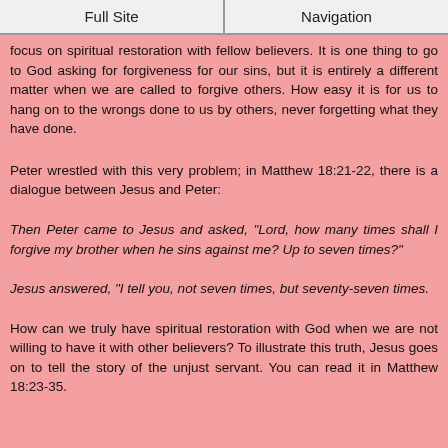Full Site | Navigation
focus on spiritual restoration with fellow believers. It is one thing to go to God asking for forgiveness for our sins, but it is entirely a different matter when we are called to forgive others. How easy it is for us to hang on to the wrongs done to us by others, never forgetting what they have done.
Peter wrestled with this very problem; in Matthew 18:21-22, there is a dialogue between Jesus and Peter:
Then Peter came to Jesus and asked, "Lord, how many times shall I forgive my brother when he sins against me? Up to seven times?"
Jesus answered, "I tell you, not seven times, but seventy-seven times.
How can we truly have spiritual restoration with God when we are not willing to have it with other believers? To illustrate this truth, Jesus goes on to tell the story of the unjust servant. You can read it in Matthew 18:23-35.